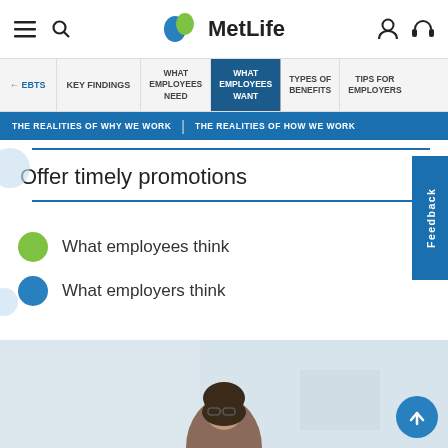[Figure (logo): MetLife logo with blue and green leaf icon and MetLife wordmark]
EBTS | KEY FINDINGS | WHAT EMPLOYEES NEED | WHAT EMPLOYEES WANT | TYPES OF BENEFITS | TIPS FOR EMPLOYERS
THE REALITIES OF WHY WE WORK | THE REALITIES OF HOW WE WORK
Offer timely promotions
What employees think
What employers think
[Figure (photo): Photo of a woman wearing glasses smiling, office background]